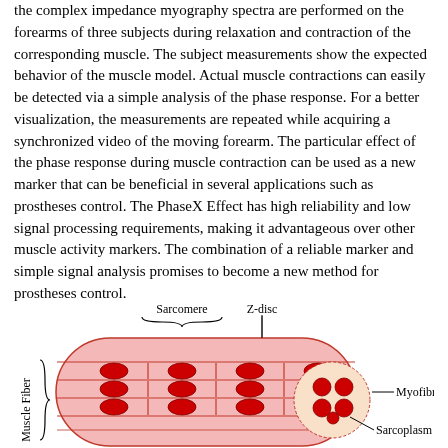the complex impedance myography spectra are performed on the forearms of three subjects during relaxation and contraction of the corresponding muscle. The subject measurements show the expected behavior of the muscle model. Actual muscle contractions can easily be detected via a simple analysis of the phase response. For a better visualization, the measurements are repeated while acquiring a synchronized video of the moving forearm. The particular effect of the phase response during muscle contraction can be used as a new marker that can be beneficial in several applications such as prostheses control. The PhaseX Effect has high reliability and low signal processing requirements, making it advantageous over other muscle activity markers. The combination of a reliable marker and simple signal analysis promises to become a new method for prostheses control.
[Figure (illustration): Diagram of a muscle fiber cross-section showing sarcomere, Z-disc, myofibril, and sarcoplasm labeled. The illustration shows a cylindrical muscle fiber cut open to reveal internal striations with red oval shapes (myofibrils) arranged in rows, with a circular cross-section inset showing sarcoplasm. Labels include Sarcomere (with brace), Z-disc, Muscle Fiber (vertical label with brace on left), Myofibril, and Sarcoplasm.]